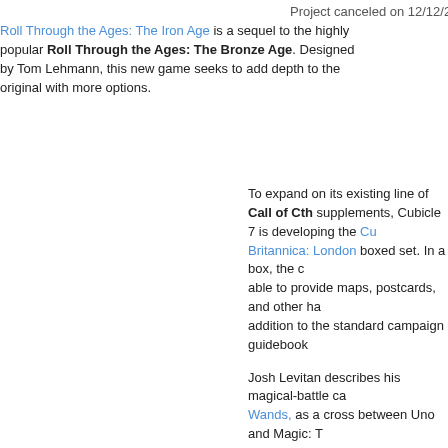Project canceled on 12/12/2
Roll Through the Ages: The Iron Age is a sequel to the highly popular Roll Through the Ages: The Bronze Age. Designed by Tom Lehmann, this new game seeks to add depth to the original with more options.
To expand on its existing line of Call of Cth supplements, Cubicle 7 is developing the Cu Britannica: London boxed set. In a box, the able to provide maps, postcards, and other h addition to the standard campaign guidebook
Josh Levitan describes his magical-battle ca Wands, as a cross between Uno and Magic: Gathering. And he’s so close to funding.
Hold Your Breath is the “final chapter” in M Games’ “Get Bit trilogy”. Now, the pirates, escaped a shark but still alone in the ocean, a stupid game of seeing who can dive the deep return to the surface alive. The game in real- sound so stupid, actually an intriguing push- card game.
The Advanced Bestiary project is for an upd Ronin’s d20 monster book to the Pathfinder
SteamShadows is an French steampunk urba RPG.